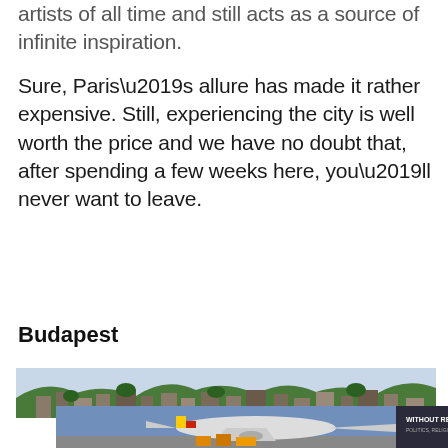artists of all time and still acts as a source of infinite inspiration.
Sure, Paris’s allure has made it rather expensive. Still, experiencing the city is well worth the price and we have no doubt that, after spending a few weeks here, you’ll never want to leave.
Budapest
[Figure (photo): City landscape photo showing a hillside town with buildings and trees, partially overlaid with an advertisement showing an airplane being loaded with cargo.]